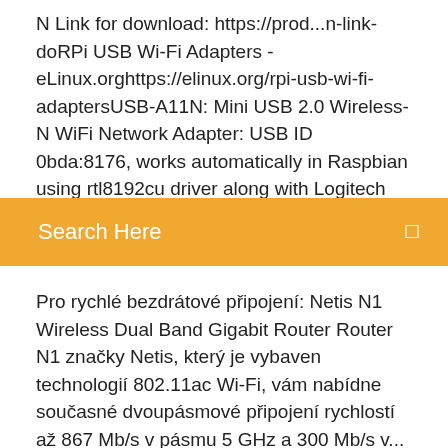N Link for download: https://prod...n-link-doRPi USB Wi-Fi Adapters - eLinux.orghttps://elinux.org/rpi-usb-wi-fi-adaptersUSB-A11N: Mini USB 2.0 Wireless-N WiFi Network Adapter: USB ID 0bda:8176, works automatically in Raspbian using rtl8192cu driver along with Logitech BT mini-receiver (keyboard/mousepad) without external hub using 5.25V 1 A psu
Search Here
Pro rychlé bezdrátové připojení: Netis N1 Wireless Dual Band Gigabit Router Router N1 značky Netis, který je vybaven technologií 802.11ac Wi-Fi, vám nabídne současné dvoupásmové připojení rychlostí až 867 Mb/s v pásmu 5 GHz a 300 Mb/s v... Bezdrátový USB adaptér N300 Dvě odnimatelné antény se ziskem 5 dBi zajišťující až 10× lepší pokrytí signálem Přibalený prodlužovací USB kabel pro flexibilní umístění zaručující co nejlepší příjem EZ WPS – nastavení Wi-Fi připojení v pouhých... Nakupujte Sitovy adapter pro asus s1n nejlevněji na trhu. Ochrana an Vám poradit gerry. Nakupujte skutěs. Mám